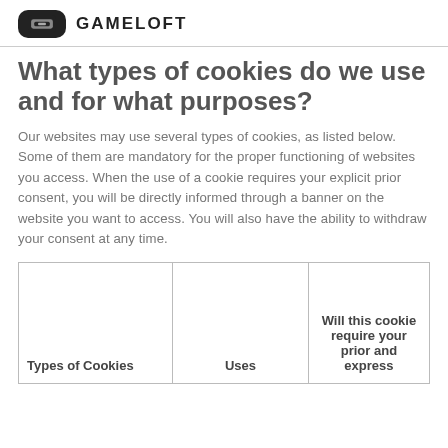GAMELOFT
What types of cookies do we use and for what purposes?
Our websites may use several types of cookies, as listed below. Some of them are mandatory for the proper functioning of websites you access. When the use of a cookie requires your explicit prior consent, you will be directly informed through a banner on the website you want to access. You will also have the ability to withdraw your consent at any time.
| Types of Cookies | Uses | Will this cookie require your prior and express |
| --- | --- | --- |